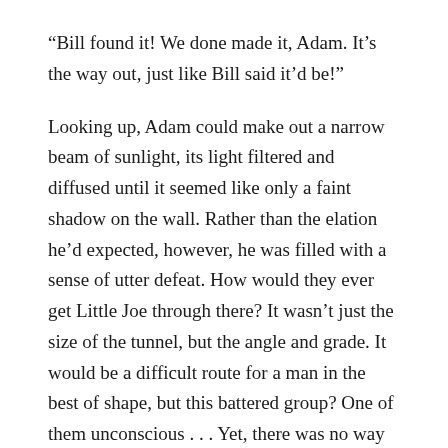“Bill found it! We done made it, Adam. It’s the way out, just like Bill said it’d be!”
Looking up, Adam could make out a narrow beam of sunlight, its light filtered and diffused until it seemed like only a faint shadow on the wall. Rather than the elation he’d expected, however, he was filled with a sense of utter defeat. How would they ever get Little Joe through there? It wasn’t just the size of the tunnel, but the angle and grade. It would be a difficult route for a man in the best of shape, but this battered group? One of them unconscious . . . Yet, there was no way that Adam would leave his brother behind.
Hoss was the first one to examine the smaller shaft. Adam was amazed again, at his brother’s indomitable